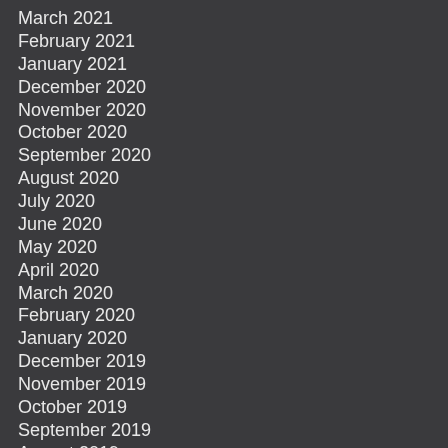March 2021
February 2021
January 2021
December 2020
November 2020
October 2020
September 2020
August 2020
July 2020
June 2020
May 2020
April 2020
March 2020
February 2020
January 2020
December 2019
November 2019
October 2019
September 2019
August 2019